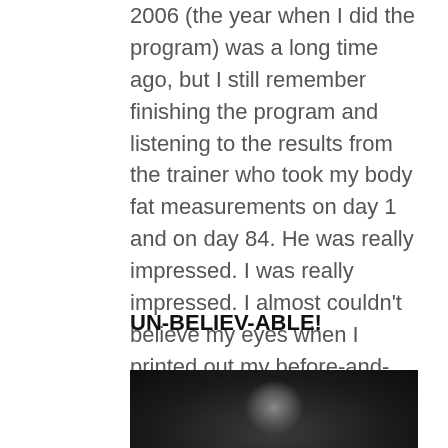2006 (the year when I did the program) was a long time ago, but I still remember finishing the program and listening to the results from the trainer who took my body fat measurements on day 1 and on day 84. He was really impressed. I was really impressed. I almost couldn't believe my eyes when I printed out my before-and-after pictures.
UN-BELIEV-ABLE!
[Figure (photo): A black and white photo, partially visible, showing a dark background with a light-colored figure or subject in the center bottom area.]